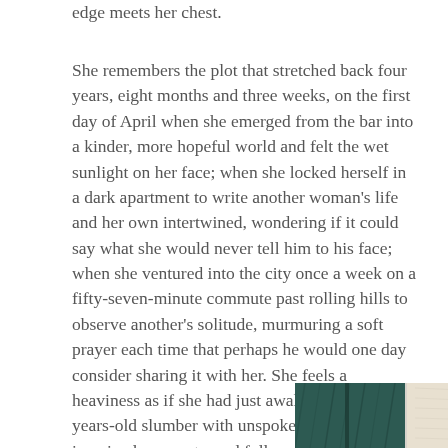edge meets her chest.
She remembers the plot that stretched back four years, eight months and three weeks, on the first day of April when she emerged from the bar into a kinder, more hopeful world and felt the wet sunlight on her face; when she locked herself in a dark apartment to write another woman's life and her own intertwined, wondering if it could say what she would never tell him to his face; when she ventured into the city once a week on a fifty-seven-minute commute past rolling hills to observe another's solitude, murmuring a soft prayer each time that perhaps he would one day consider sharing it with her. She feels a heaviness as if she had just awakened from a years-old slumber with unspoken words, imagined moments, and fully-written sentences in her body. She finally arrives ashore.
[Figure (photo): Two fabric or textile swatches side by side — a dark teal/green textured fabric on the left and a light cream/beige fabric on the right.]